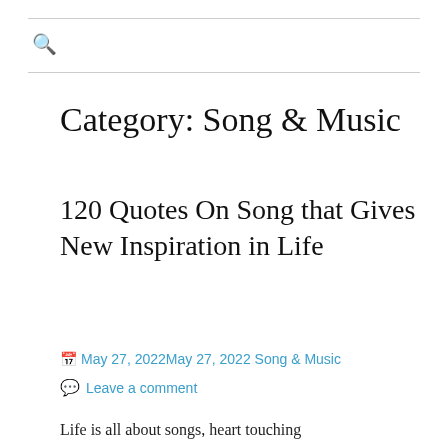🔍
Category: Song & Music
120 Quotes On Song that Gives New Inspiration in Life
📅 May 27, 2022May 27, 2022 Song & Music
💬 Leave a comment
Life is all about songs, heart touching